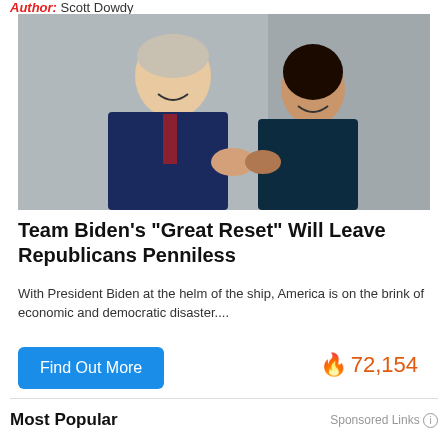Author: Scott Dowdy
[Figure (photo): Two politicians in suits smiling and doing an elbow bump greeting]
Team Biden's "Great Reset" Will Leave Republicans Penniless
With President Biden at the helm of the ship, America is on the brink of economic and democratic disaster....
Find Out More
🔥 72,154
Most Popular
Sponsored Links ℹ